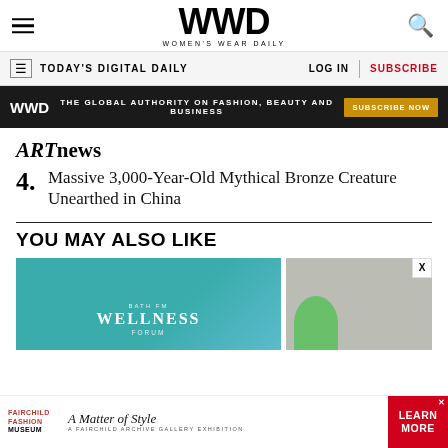WWD — Women's Wear Daily
TODAY'S DIGITAL DAILY | LOG IN | SUBSCRIBE
WWD — THE GLOBAL AUTHORITY ON FASHION, BEAUTY AND BUSINESS — SUBSCRIBE NOW
ARTnews
4. Massive 3,000-Year-Old Mythical Bronze Creature Unearthed in China
YOU MAY ALSO LIKE
[Figure (photo): WWD Wellness Forum promotional image with teal background]
[Figure (photo): Close-up photo with grey texture and green element]
Fairchild Fashion Museum — A Matter of Style — A FAIRCHILD ARCHIVE GALLERY EXHIBITION — LEARN MORE